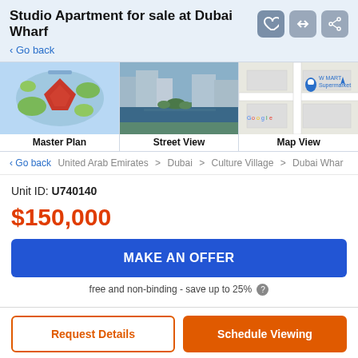Studio Apartment for sale at Dubai Wharf
< Go back
[Figure (other): Three view panels: Master Plan (aerial map illustration), Street View (canal-side buildings photo), Map View (Google Maps screenshot showing W MART Supermarket)]
< Go back  United Arab Emirates  >  Dubai  >  Culture Village  >  Dubai Whar
Unit ID: U740140
$150,000
MAKE AN OFFER
free and non-binding - save up to 25%
Request Details
Schedule Viewing